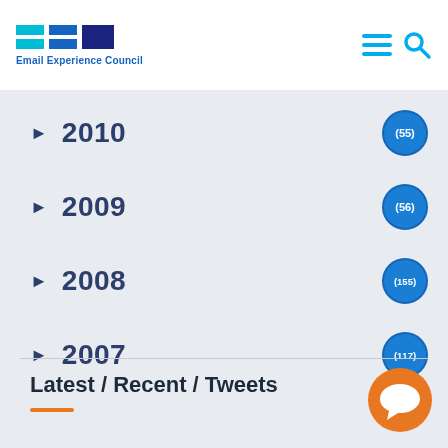Email Experience Council
2010 (55)
2009 (56)
2008 (155)
2007 (117)
Latest / Recent / Tweets